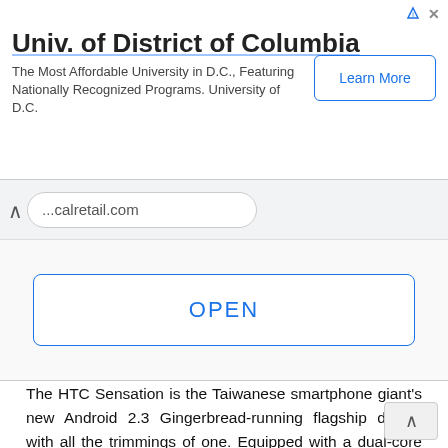[Figure (other): Advertisement banner for University of District of Columbia with Learn More button, ad icons and close button]
...calretail.com
OPEN
The HTC Sensation is the Taiwanese smartphone giant's new Android 2.3 Gingerbread-running flagship device with all the trimmings of one. Equipped with a dual-core 1.2Ghz processor, 4.3" capacitive display running at a mass 960×540, 1080p video capture, 8MP camera with dual LED flash, and a boat load of new HTC Sense UI tech inside.